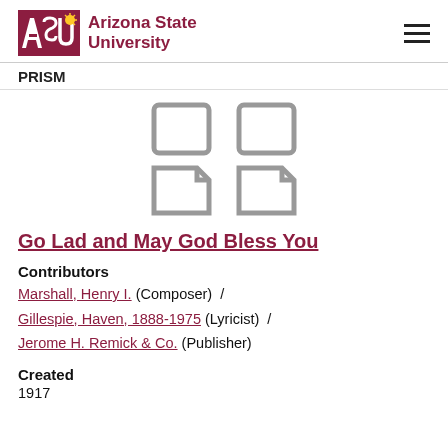ASU Arizona State University PRISM
[Figure (illustration): Four document/page icons arranged in a 2x2 grid, shown in gray outline style]
Go Lad and May God Bless You
Contributors
Marshall, Henry I. (Composer) / Gillespie, Haven, 1888-1975 (Lyricist) / Jerome H. Remick & Co. (Publisher)
Created
1917